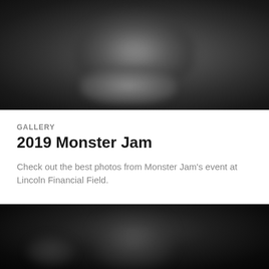[Figure (photo): Black and white blurred photo of a monster truck at an event, top image]
GALLERY
2019 Monster Jam
Check out the best photos from Monster Jam's event at Lincoln Financial Field.
[Figure (photo): Black and dark blurred photo of a monster truck event, bottom image, partially visible]